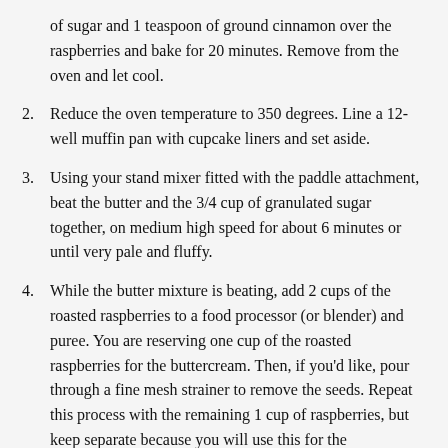of sugar and 1 teaspoon of ground cinnamon over the raspberries and bake for 20 minutes. Remove from the oven and let cool.
2. Reduce the oven temperature to 350 degrees. Line a 12-well muffin pan with cupcake liners and set aside.
3. Using your stand mixer fitted with the paddle attachment, beat the butter and the 3/4 cup of granulated sugar together, on medium high speed for about 6 minutes or until very pale and fluffy.
4. While the butter mixture is beating, add 2 cups of the roasted raspberries to a food processor (or blender) and puree. You are reserving one cup of the roasted raspberries for the buttercream. Then, if you'd like, pour through a fine mesh strainer to remove the seeds. Repeat this process with the remaining 1 cup of raspberries, but keep separate because you will use this for the buttercream.
5. Back to the stand mixer: add the eggs one at a time, mixing well after each addition, stopping to scrape down the sides and bottom of the bowl as needed. Reduce the speed of the mixer to low, and add the puree made from